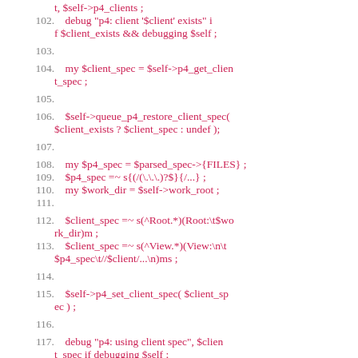[Figure (screenshot): Source code listing in Perl, lines 101-118, displayed with line numbers on the left in gray and code in red/pink monospace font on white background.]